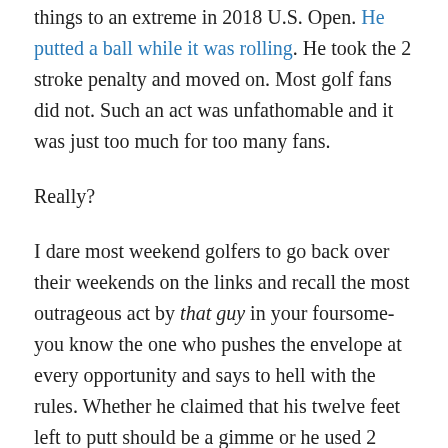things to an extreme in 2018 U.S. Open. He putted a ball while it was rolling. He took the 2 stroke penalty and moved on. Most golf fans did not. Such an act was unfathomable and it was just too much for too many fans.
Really?
I dare most weekend golfers to go back over their weekends on the links and recall the most outrageous act by that guy in your foursome- you know the one who pushes the envelope at every opportunity and says to hell with the rules. Whether he claimed that his twelve feet left to putt should be a gimme or he used 2 mulligans before you reached the 6th hole, that guy gets a pass with his constant rule-breaking antics and Phil